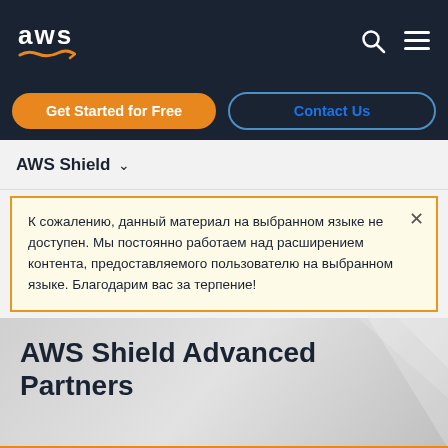[Figure (logo): AWS logo (white text 'aws' with orange arrow/smile underneath) on dark navy background, with search and hamburger menu icons on the right]
Get Started for Free
Contact Us
AWS Shield
К сожалению, данный материал на выбранном языке не доступен. Мы постоянно работаем над расширением контента, предоставляемого пользователю на выбранном языке. Благодарим вас за терпение!
AWS Shield Advanced Partners
Contact an AWS Partner specialist